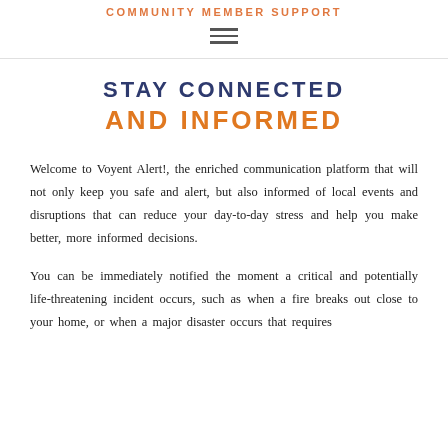COMMUNITY MEMBER SUPPORT
[Figure (other): Hamburger menu icon with three horizontal lines]
STAY CONNECTED AND INFORMED
Welcome to Voyent Alert!, the enriched communication platform that will not only keep you safe and alert, but also informed of local events and disruptions that can reduce your day-to-day stress and help you make better, more informed decisions.
You can be immediately notified the moment a critical and potentially life-threatening incident occurs, such as when a fire breaks out close to your home, or when a major disaster occurs that requires